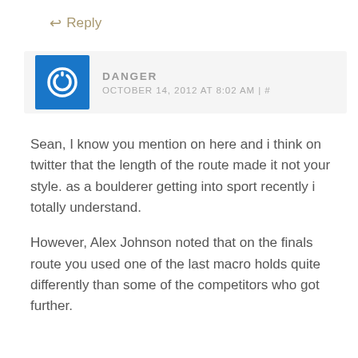↩ Reply
DANGER
OCTOBER 14, 2012 AT 8:02 AM | #
Sean, I know you mention on here and i think on twitter that the length of the route made it not your style. as a boulderer getting into sport recently i totally understand.
However, Alex Johnson noted that on the finals route you used one of the last macro holds quite differently than some of the competitors who got further.